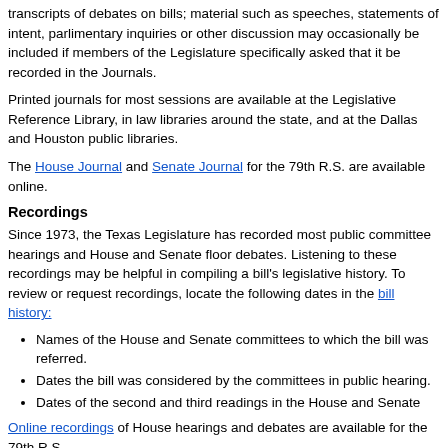transcripts of debates on bills; material such as speeches, statements of intent, parlimentary inquiries or other discussion may occasionally be included if members of the Legislature specifically asked that it be recorded in the Journals.
Printed journals for most sessions are available at the Legislative Reference Library, in law libraries around the state, and at the Dallas and Houston public libraries.
The House Journal and Senate Journal for the 79th R.S. are available online.
Recordings
Since 1973, the Texas Legislature has recorded most public committee hearings and House and Senate floor debates. Listening to these recordings may be helpful in compiling a bill's legislative history. To review or request recordings, locate the following dates in the bill history:
Names of the House and Senate committees to which the bill was referred.
Dates the bill was considered by the committees in public hearing.
Dates of the second and third readings in the House and Senate
Online recordings of House hearings and debates are available for the 79th R.S..
Online recordings of Senate hearings and debates are available for the 79th R.S..
Digitized copies of the Senate recordings for the 79th R.S. are available from the Texas State Library and Archives Commission.